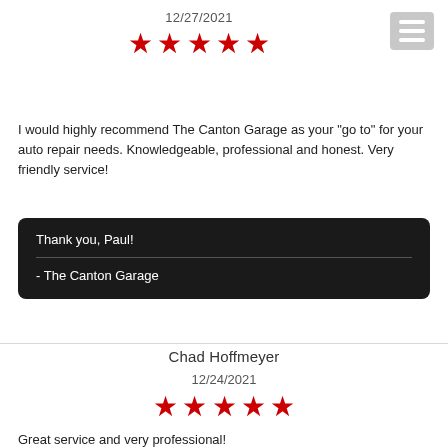12/27/2021
[Figure (other): Five red star rating]
[Figure (other): Hamburger menu icon (three horizontal bars) in gray square]
I would highly recommend The Canton Garage as your "go to" for your auto repair needs. Knowledgeable, professional and honest. Very friendly service!
Thank you, Paul!
- The Canton Garage
Chad Hoffmeyer
12/24/2021
[Figure (other): Five red star rating]
Great service and very professional!